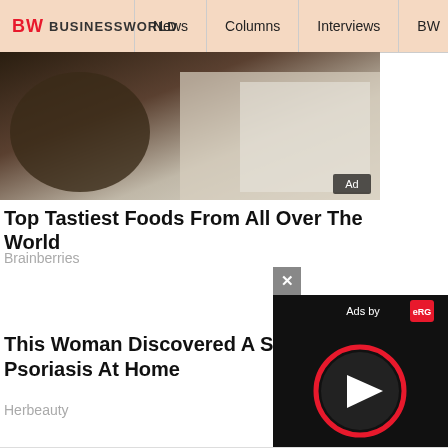BW BUSINESSWORLD | News | Columns | Interviews | BW
[Figure (photo): Advertisement image showing food items, partially visible. 'Ad' badge in bottom right corner.]
Top Tastiest Foods From All Over The World
Brainberries
This Woman Discovered A Simp... Psoriasis At Home
Herbeauty
[Figure (screenshot): Video player popup with close button (x), 'Ads by eRG' header bar, and play button on dark background.]